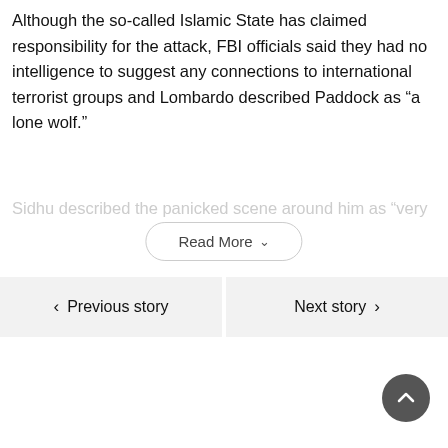Although the so-called Islamic State has claimed responsibility for the attack, FBI officials said they had no intelligence to suggest any connections to international terrorist groups and Lombardo described Paddock as “a lone wolf.”
Sidhu described the panicked scene around him as “very
Read More
Previous story
Next story